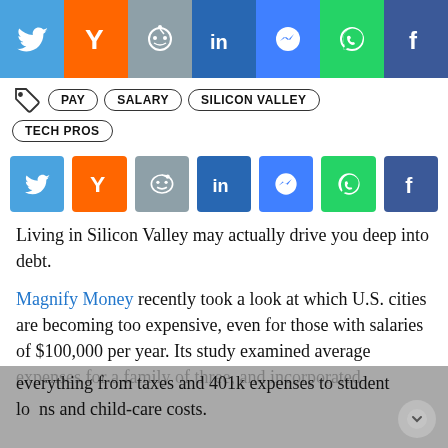[Figure (infographic): Top social sharing bar with Twitter (blue), Y Combinator (orange), Reddit (grey), LinkedIn (dark blue), Messenger (blue), WhatsApp (green), Facebook (dark blue) icons]
PAY
SALARY
SILICON VALLEY
TECH PROS
[Figure (infographic): Middle social sharing bar with Twitter, Y Combinator, Reddit, LinkedIn, Messenger, WhatsApp, Facebook icons]
Living in Silicon Valley may actually drive you deep into debt.
Magnify Money recently took a look at which U.S. cities are becoming too expensive, even for those with salaries of $100,000 per year. Its study examined average expenses for a family of three, and incorporated everything from taxes and 401k expenses to student loans and child-care costs.